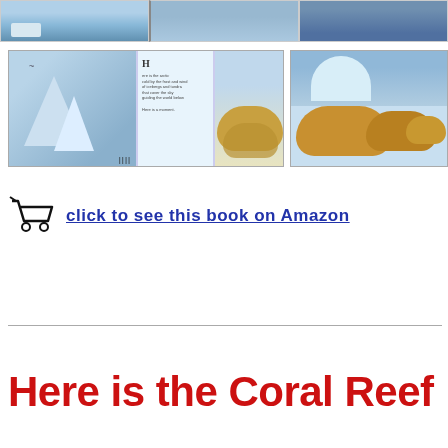[Figure (photo): Top strip of three book spread images showing arctic/icy scenes]
[Figure (photo): Two book interior spread images showing arctic scenes with icebergs, penguins, seals, and book text page]
[Figure (illustration): Shopping cart icon with 'click to see this book on Amazon' link text]
click to see this book on Amazon
Here is the Coral Reef